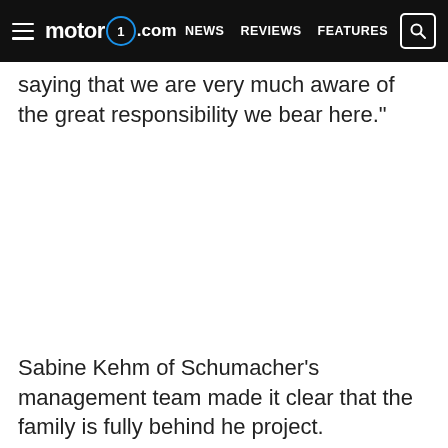motor1.com  NEWS  REVIEWS  FEATURES
saying that we are very much aware of the great responsibility we bear here."
Sabine Kehm of Schumacher's management team made it clear that the family is fully behind he project.